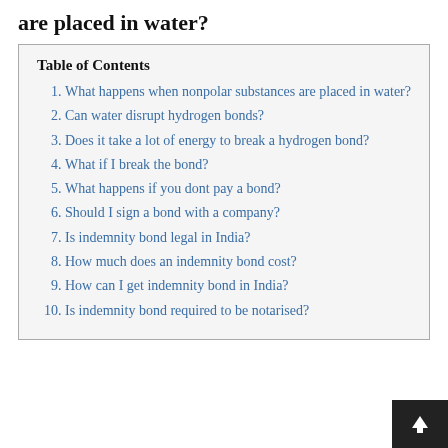are placed in water?
Table of Contents
What happens when nonpolar substances are placed in water?
Can water disrupt hydrogen bonds?
Does it take a lot of energy to break a hydrogen bond?
What if I break the bond?
What happens if you dont pay a bond?
Should I sign a bond with a company?
Is indemnity bond legal in India?
How much does an indemnity bond cost?
How can I get indemnity bond in India?
Is indemnity bond required to be notarised?